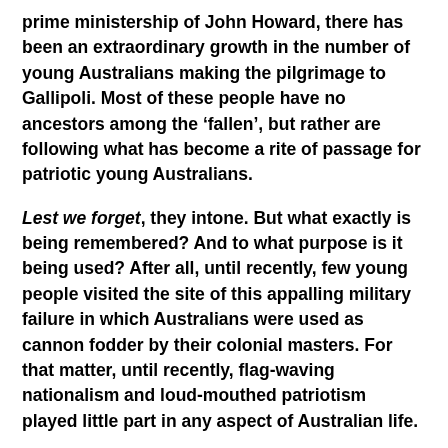prime ministership of John Howard, there has been an extraordinary growth in the number of young Australians making the pilgrimage to Gallipoli. Most of these people have no ancestors among the ‘fallen’, but rather are following what has become a rite of passage for patriotic young Australians.
Lest we forget, they intone. But what exactly is being remembered? And to what purpose is it being used? After all, until recently, few young people visited the site of this appalling military failure in which Australians were used as cannon fodder by their colonial masters. For that matter, until recently, flag-waving nationalism and loud-mouthed patriotism played little part in any aspect of Australian life.
Memory and its more structured form as remembrance